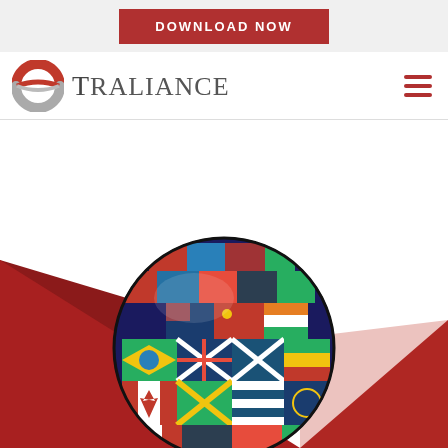[Figure (other): Red download now button banner at top of page]
[Figure (logo): Traliance logo with globe icon and company name]
[Figure (illustration): Red geometric angular background shapes forming triangular wedges in lower portion of page, with a sphere/globe covered in international country flags centered at the bottom]